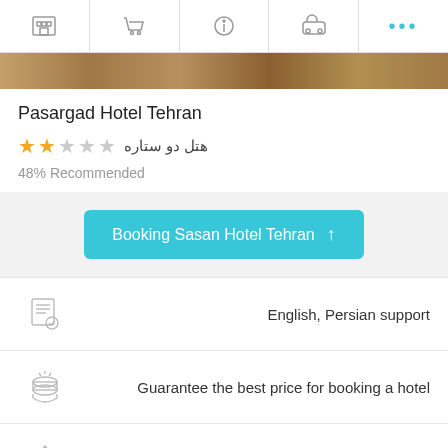Navigation bar with hotel, cart, info, car, more icons
[Figure (photo): Hotel photo strip at top of page]
Pasargad Hotel Tehran
هتل دو ستاره (2 star hotel) — 2 filled stars, 3 empty stars
48% Recommended
Booking Sasan Hotel Tehran ↑
English, Persian support
Guarantee the best price for booking a hotel
More than 700 hotels in Iran
Cheaper than list prices